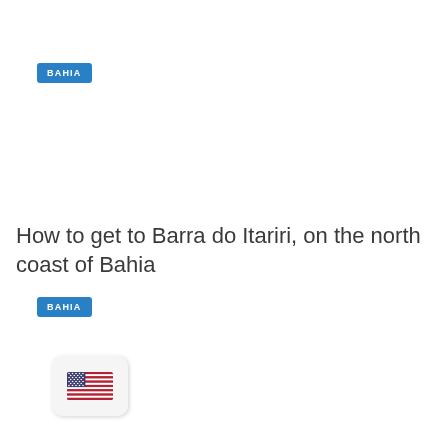[Figure (other): Blue badge/tag with text BAHIA in white uppercase letters]
How to get to Barra do Itariri, on the north coast of Bahia
[Figure (other): Blue badge/tag with text BAHIA in white uppercase letters]
[Figure (other): US flag icon inside a rounded white/light grey card with shadow]